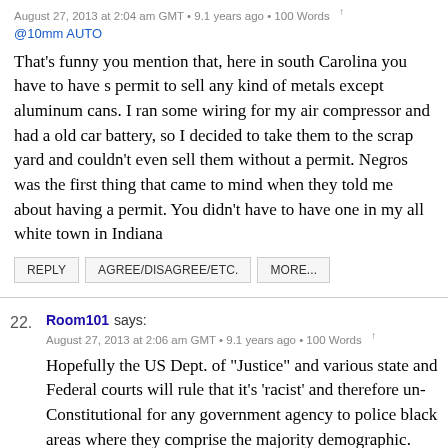August 27, 2013 at 2:04 am GMT • 9.1 years ago • 100 Words ↑
@10mm AUTO
That's funny you mention that, here in south Carolina you have to have s permit to sell any kind of metals except aluminum cans. I ran some wiring for my air compressor and had a old car battery, so I decided to take them to the scrap yard and couldn't even sell them without a permit. Negros was the first thing that came to mind when they told me about having a permit. You didn't have to have one in my all white town in Indiana
REPLY
AGREE/DISAGREE/ETC.
MORE...
22. Room101 says:
August 27, 2013 at 2:06 am GMT • 9.1 years ago • 100 Words ↑
Hopefully the US Dept. of "Justice" and various state and Federal courts will rule that it's 'racist' and therefore un-Constitutional for any government agency to police black areas where they comprise the majority demographic. As the sniper guy character said in the 1998 movie Saving